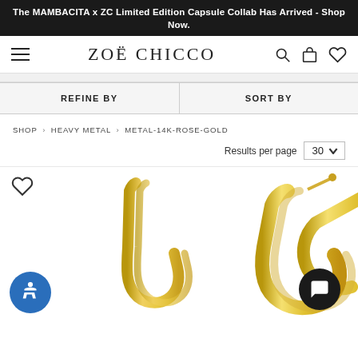The MAMBACITA x ZC Limited Edition Capsule Collab Has Arrived - Shop Now.
[Figure (logo): Zoë Chicco brand logo with navigation icons (hamburger menu, search, bag, heart)]
REFINE BY
SORT BY
SHOP › HEAVY METAL › METAL-14K-ROSE-GOLD
Results per page 30
[Figure (photo): Gold hoop earrings product photo on white background with wishlist heart icon, accessibility button, and chat button]